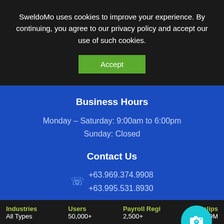SweldoMo uses cookies to improve your experience. By continuing, you agree to our privacy policy and accept our use of such cookies.
Accept
Business Hours
Monday – Saturday: 9:00am to 6:00pm
Sunday: Closed
Contact Us
+63.969.374.9908
+63.995.531.8930
support@sweldomo.ph
[Figure (other): Teal circular camera/chat icon button (FAB)]
| Industries | Users | Payroll Regi... | Payslips |
| --- | --- | --- | --- |
| All Types | 50,000+ | 2,500+ | 1.9M |